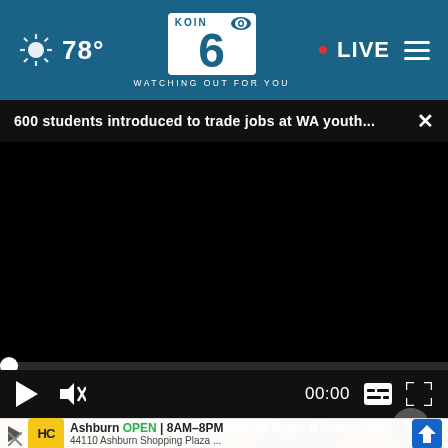78° KOIN 6 CBS WATCHING OUT FOR YOU • LIVE
600 students introduced to trade jobs at WA youth... ×
[Figure (screenshot): Black video player area with scrubber and controls showing 00:00 timestamp]
Wrap Foil Around Your Doorknob at Night if Alone, Her
So good dry
Ashburn OPEN 8AM–8PM 44110 Ashburn Shopping Plaza ...